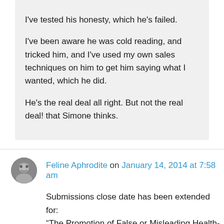I've tested his honesty, which he's failed. I've been aware he was cold reading, and tricked him, and I've used my own sales techniques on him to get him saying what I wanted, which he did. He's the real deal all right. But not the real deal! that Simone thinks.
Feline Aphrodite on January 14, 2014 at 7:58 am
Submissions close date has been extended for: "The Promotion of False or Misleading Health-Related Information or Practices (Inquiry)"

Call for submissions: 30 Oct 2013
Submissions close: 7 Feb 2014